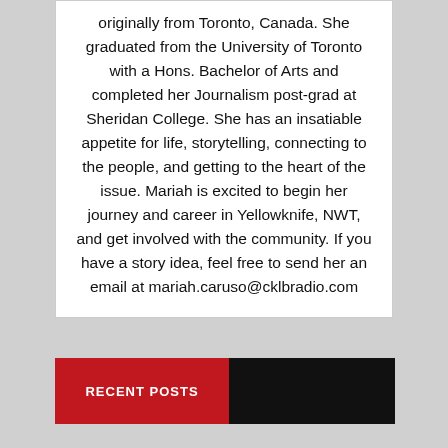originally from Toronto, Canada. She graduated from the University of Toronto with a Hons. Bachelor of Arts and completed her Journalism post-grad at Sheridan College. She has an insatiable appetite for life, storytelling, connecting to the people, and getting to the heart of the issue. Mariah is excited to begin her journey and career in Yellowknife, NWT, and get involved with the community. If you have a story idea, feel free to send her an email at mariah.caruso@cklbradio.com
RECENT POSTS